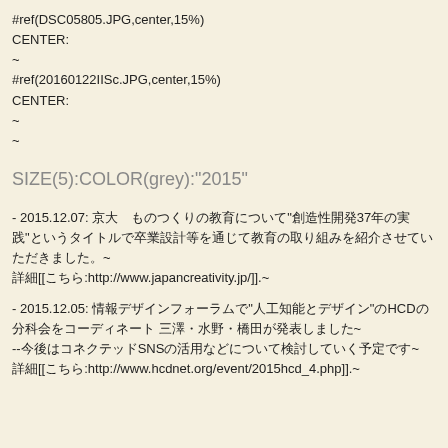#ref(DSC05805.JPG,center,15%)
CENTER:
~
#ref(20160122IISc.JPG,center,15%)
CENTER:
~
~
SIZE(5):COLOR(grey):"2015"
- 2015.12.07: 京大　ものつくりの教育について「創造性開発37年の実践」というタイトルで卒業設計等を通じて教育の取り組みを紹介させていただきました。~
詳細[[こちら:http://www.japancreativity.jp/]].~
- 2015.12.05: 情報デザインフォーラムで「人工知能とデザイン」のHCD分科会をコーディネート 三澤・水野・橋田が発表しました~
--今後はコネクテッドSNSの活用などについて検討していく予定です~
詳細[[こちら:http://www.hcdnet.org/event/2015hcd_4.php]].~